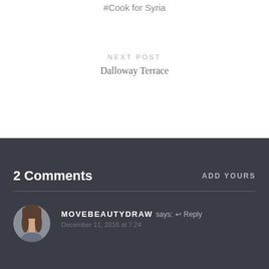#Cook for Syria
NEXT POST
Dalloway Terrace
2 Comments
ADD YOURS
MOVEBEAUTYDRAW says: ↩ Reply
December 11, 2016 at 7:24